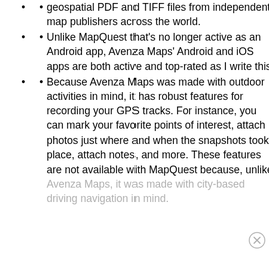geospatial PDF and TIFF files from independent map publishers across the world.
Unlike MapQuest that’s no longer active as an Android app, Avenza Maps’ Android and iOS apps are both active and top-rated as I write this.
Because Avenza Maps was made with outdoor activities in mind, it has robust features for recording your GPS tracks. For instance, you can mark your favorite points of interest, attach photos just where and when the snapshots took place, attach notes, and more. These features are not available with MapQuest because, unlike Avenza Maps, it was made with city-based driving navigation in mind.